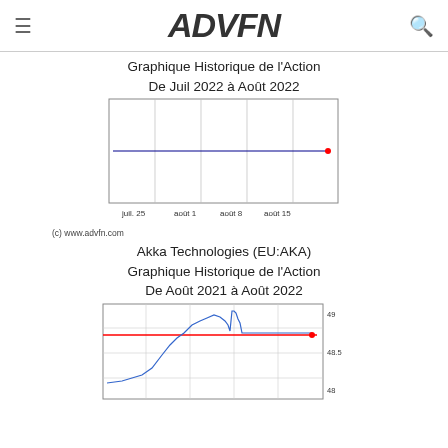ADVFN
Graphique Historique de l'Action
De Juil 2022 à Août 2022
[Figure (line-chart): Flat blue line from juil. 25 to août 15 area with a red dot at the right end]
(c) www.advfn.com
Akka Technologies (EU:AKA)
Graphique Historique de l'Action
De Août 2021 à Août 2022
[Figure (line-chart): Line chart showing price around 48-49, with a red horizontal reference line and a red dot at right end. Y-axis shows 48, 48.5, 49.]